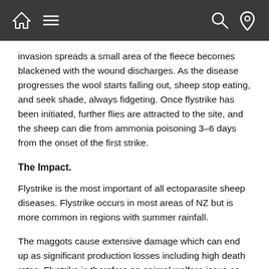Navigation bar with home, menu, search, and location icons
invasion spreads a small area of the fleece becomes blackened with the wound discharges. As the disease progresses the wool starts falling out, sheep stop eating, and seek shade, always fidgeting. Once flystrike has been initiated, further flies are attracted to the site, and the sheep can die from ammonia poisoning 3–6 days from the onset of the first strike.
The Impact.
Flystrike is the most important of all ectoparasite sheep diseases. Flystrike occurs in most areas of NZ but is more common in regions with summer rainfall.
The maggots cause extensive damage which can end up as significant production losses including high death rates. Flystrike is therefore an animal welfare issue as well as an economic one.
Most of the “cost” is associated with the extensive use of chemicals to prevent the disease.